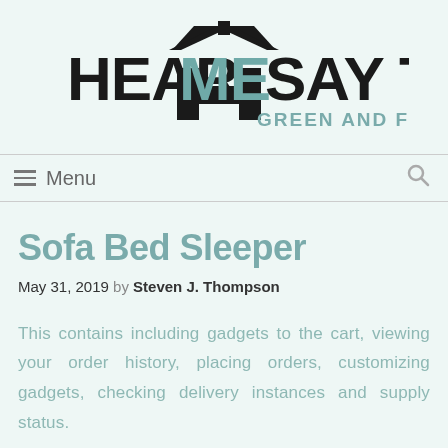[Figure (logo): Hear Me Say This logo with house/letter A icon, bold black text HEAR ME SAY THIS, ME overlaid with teal color, tagline GREEN AND FRESH in teal]
≡ Menu
Sofa Bed Sleeper
May 31, 2019 by Steven J. Thompson
This contains including gadgets to the cart, viewing your order history, placing orders, customizing gadgets, checking delivery instances and supply status.